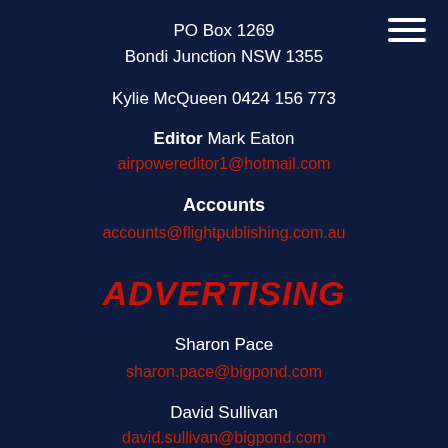PO Box 1269
Bondi Junction NSW 1355
Kylie McQueen 0424 156 773
Editor Mark Eaton
airpowereditor1@hotmail.com
Accounts
accounts@flightpublishing.com.au
ADVERTISING
Sharon Pace
sharon.pace@bigpond.com
David Sullivan
david.sullivan@bigpond.com